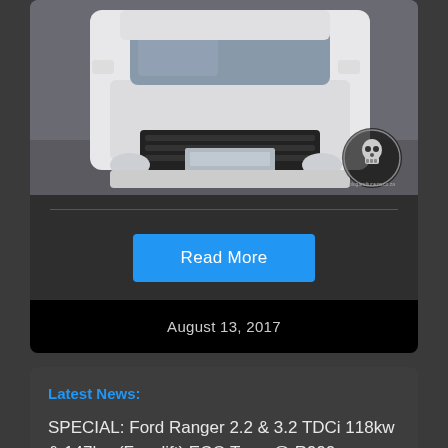[Figure (photo): Front view of a white Ford Transit Connect van in a garage/workshop setting, with a Vrede Performance logo watermark in the bottom right corner.]
Read More
August 13, 2017
Latest News:
SPECIAL: Ford Ranger 2.2 & 3.2 TDCi 118kw & 147kw (Facelift) ECO Tune @ R999 -  Custom Tuned on Dyno.